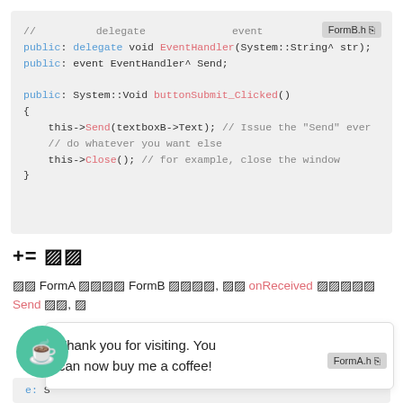[Figure (screenshot): Code block showing C++/CLI delegate and event handler code for FormB.h]
+=
FormA 　　　 FormB 　　　　, 　　 onReceived 　　　　
Send 　　,
[Figure (screenshot): Toast overlay: 'Thank you for visiting. You can now buy me a coffee!' with coffee cup icon and FormA.h badge]